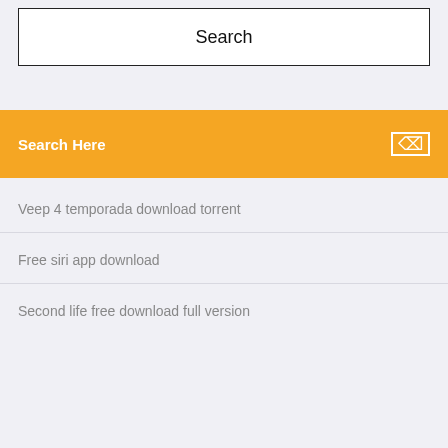[Figure (screenshot): Search box with text 'Search' centered inside a bordered rectangle on a light gray background]
Search Here
Veep 4 temporada download torrent
Free siri app download
Second life free download full version